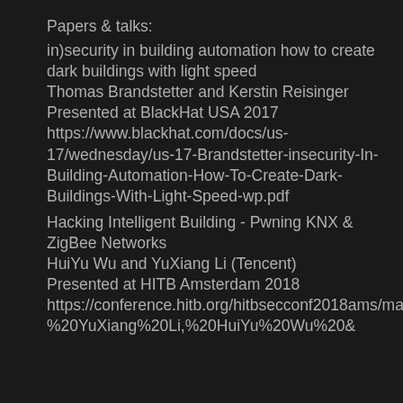Papers & talks:
in)security in building automation how to create dark buildings with light speed
Thomas Brandstetter and Kerstin Reisinger
Presented at BlackHat USA 2017
https://www.blackhat.com/docs/us-17/wednesday/us-17-Brandstetter-insecurity-In-Building-Automation-How-To-Create-Dark-Buildings-With-Light-Speed-wp.pdf
Hacking Intelligent Building - Pwning KNX & ZigBee Networks
HuiYu Wu and YuXiang Li (Tencent)
Presented at HITB Amsterdam 2018
https://conference.hitb.org/hitbsecconf2018ams/materials/D1T2%20-%20YuXiang%20Li,%20HuiYu%20Wu%20&